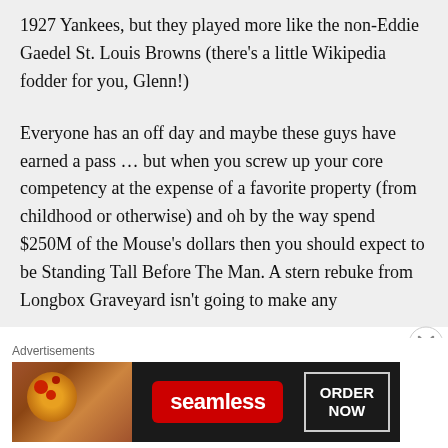1927 Yankees, but they played more like the non-Eddie Gaedel St. Louis Browns (there's a little Wikipedia fodder for you, Glenn!)
Everyone has an off day and maybe these guys have earned a pass … but when you screw up your core competency at the expense of a favorite property (from childhood or otherwise) and oh by the way spend $250M of the Mouse's dollars then you should expect to be Standing Tall Before The Man. A stern rebuke from Longbox Graveyard isn't going to make any
Advertisements
[Figure (other): Seamless food delivery advertisement banner showing pizza image on left, red Seamless logo in center, and ORDER NOW button on right against dark background]